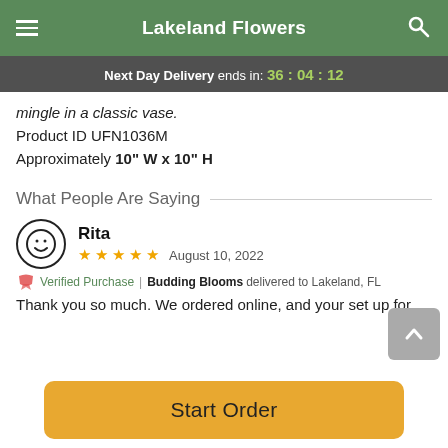Lakeland Flowers
Next Day Delivery ends in: 36 : 04 : 12
mingle in a classic vase.
Product ID UFN1036M
Approximately 10" W x 10" H
What People Are Saying
Rita
★ ★ ★ ★ ★  August 10, 2022
Verified Purchase | Budding Blooms delivered to Lakeland, FL
Thank you so much. We ordered online, and your set up for
Start Order